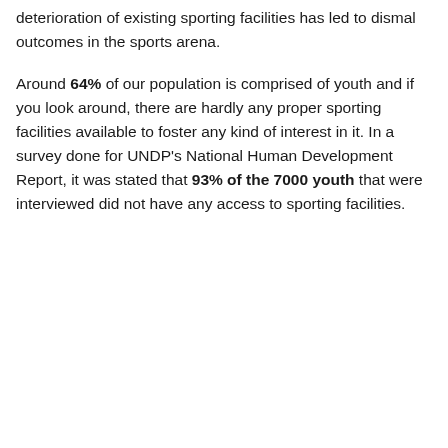deterioration of existing sporting facilities has led to dismal outcomes in the sports arena.
Around 64% of our population is comprised of youth and if you look around, there are hardly any proper sporting facilities available to foster any kind of interest in it. In a survey done for UNDP's National Human Development Report, it was stated that 93% of the 7000 youth that were interviewed did not have any access to sporting facilities.